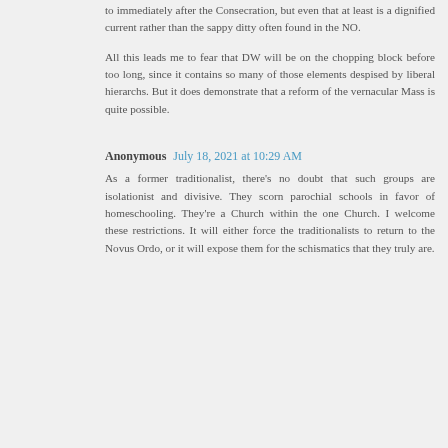to immediately after the Consecration, but even that at least is a dignified current rather than the sappy ditty often found in the NO.
All this leads me to fear that DW will be on the chopping block before too long, since it contains so many of those elements despised by liberal hierarchs. But it does demonstrate that a reform of the vernacular Mass is quite possible.
Anonymous  July 18, 2021 at 10:29 AM
As a former traditionalist, there's no doubt that such groups are isolationist and divisive. They scorn parochial schools in favor of homeschooling. They're a Church within the one Church. I welcome these restrictions. It will either force the traditionalists to return to the Novus Ordo, or it will expose them for the schismatics that they truly are.